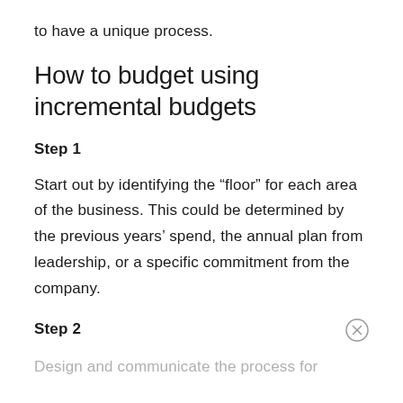to have a unique process.
How to budget using incremental budgets
Step 1
Start out by identifying the “floor” for each area of the business. This could be determined by the previous years’ spend, the annual plan from leadership, or a specific commitment from the company.
Step 2
Design and communicate the process for